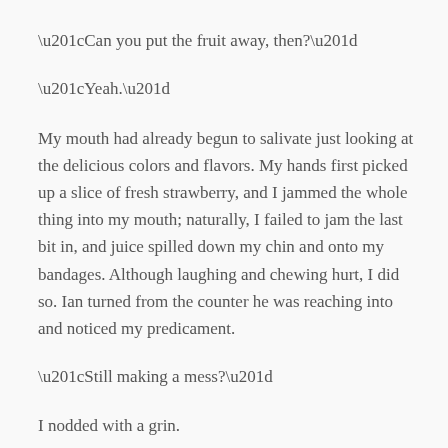“Can you put the fruit away, then?”
“Yeah.”
My mouth had already begun to salivate just looking at the delicious colors and flavors. My hands first picked up a slice of fresh strawberry, and I jammed the whole thing into my mouth; naturally, I failed to jam the last bit in, and juice spilled down my chin and onto my bandages. Although laughing and chewing hurt, I did so. Ian turned from the counter he was reaching into and noticed my predicament.
“Still making a mess?”
I nodded with a grin.